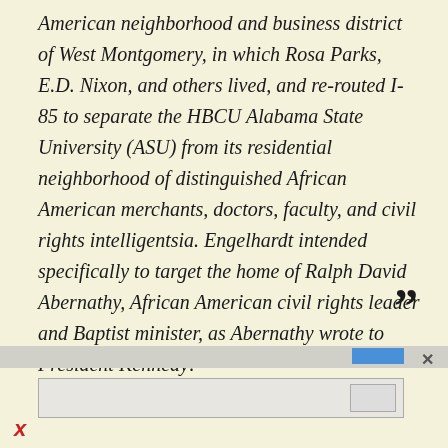American neighborhood and business district of West Montgomery, in which Rosa Parks, E.D. Nixon, and others lived, and re-routed I-85 to separate the HBCU Alabama State University (ASU) from its residential neighborhood of distinguished African American merchants, doctors, faculty, and civil rights intelligentsia. Engelhardt intended specifically to target the home of Ralph David Abernathy, African American civil rights leader and Baptist minister, as Abernathy wrote to President Kennedy: